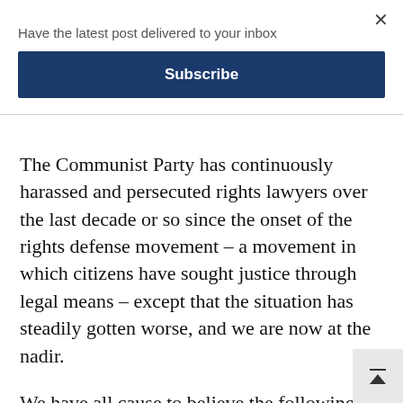Have the latest post delivered to your inbox
Subscribe
The Communist Party has continuously harassed and persecuted rights lawyers over the last decade or so since the onset of the rights defense movement – a movement in which citizens have sought justice through legal means – except that the situation has steadily gotten worse, and we are now at the nadir.
We have all cause to believe the following: that this nationwide suppression of rights lawyers was an organized, premeditated act by the Communist Party to purge and eliminate t…